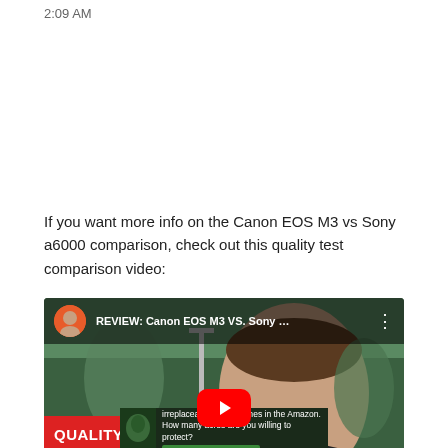2:09 AM
If you want more info on the Canon EOS M3 vs Sony a6000 comparison, check out this quality test comparison video:
[Figure (screenshot): YouTube video thumbnail for 'REVIEW: Canon EOS M3 VS. Sony ...' showing a young man outdoors with text overlays 'QUALITY TEST' in red and 'CANON EOS M3' in dark banner, with YouTube play button in the center.]
[Figure (infographic): Advertisement banner: 'Just $2 can protect 1 acre of irreplaceable forest homes in the Amazon. How many acres are you willing to protect?' with a 'PROTECT FORESTS NOW' button.]